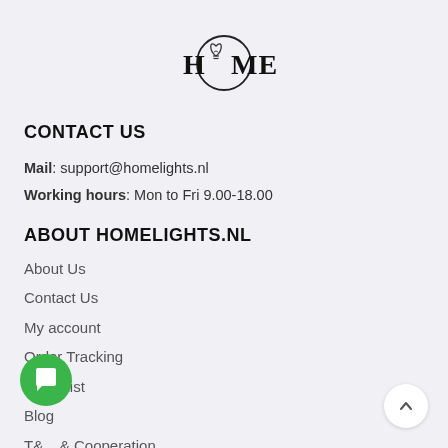[Figure (logo): HOME logo with a lightbulb replacing the O, inside a circular arc border]
CONTACT US
Mail: support@homelights.nl
Working hours: Mon to Fri 9.00-18.00
ABOUT HOMELIGHTS.NL
About Us
Contact Us
My account
Order Tracking
Wish List
Blog
T... & Cooperation
Privacy Policy